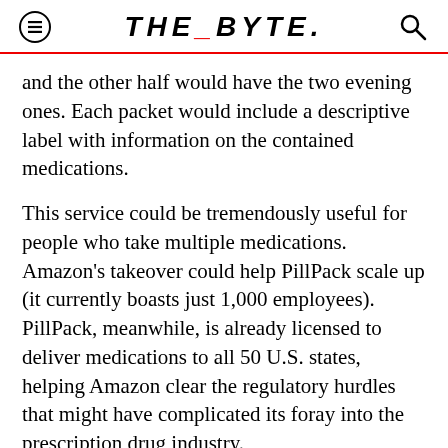THE_BYTE.
and the other half would have the two evening ones. Each packet would include a descriptive label with information on the contained medications.
This service could be tremendously useful for people who take multiple medications. Amazon's takeover could help PillPack scale up (it currently boasts just 1,000 employees). PillPack, meanwhile, is already licensed to deliver medications to all 50 U.S. states, helping Amazon clear the regulatory hurdles that might have complicated its foray into the prescription drug industry.